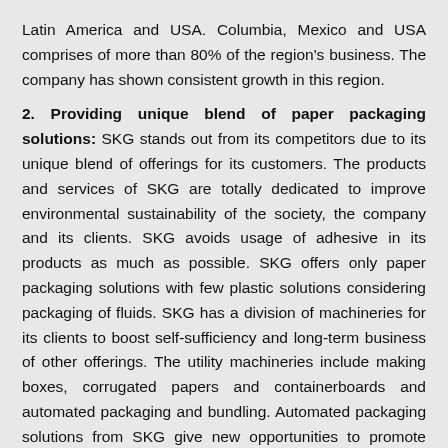Latin America and USA. Columbia, Mexico and USA comprises of more than 80% of the region's business. The company has shown consistent growth in this region.
2. Providing unique blend of paper packaging solutions: SKG stands out from its competitors due to its unique blend of offerings for its customers. The products and services of SKG are totally dedicated to improve environmental sustainability of the society, the company and its clients. SKG avoids usage of adhesive in its products as much as possible. SKG offers only paper packaging solutions with few plastic solutions considering packaging of fluids. SKG has a division of machineries for its clients to boost self-sufficiency and long-term business of other offerings. The utility machineries include making boxes, corrugated papers and containerboards and automated packaging and bundling. Automated packaging solutions from SKG give new opportunities to promote contact less packaging among its customers. SKG has unique offering of bag in box packaging, which